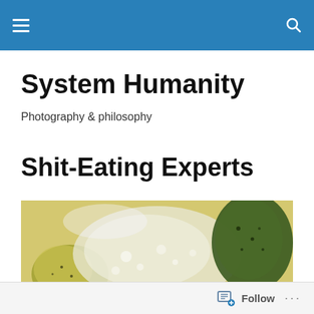System Humanity — navigation bar
System Humanity
Photography & philosophy
Shit-Eating Experts
[Figure (photo): Close-up macro photograph of food being deep-fried or cooked in bubbling liquid, showing yellowish-green textured food pieces with dark spots in foamy white liquid]
Follow  ...